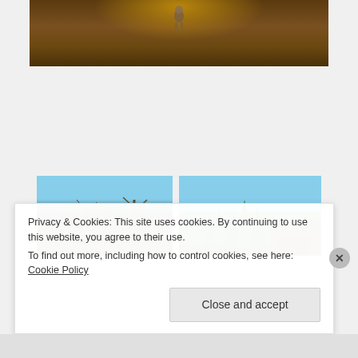[Figure (photo): A dog or animal running on sandy/rocky shoreline ground, top portion of image, earthy brown tones]
[Figure (photo): Left: person standing among burned/bare trees in a forest with blue sky. Right: green evergreen trees with a moss-covered structure or rock in foreground, blue sky.]
Privacy & Cookies: This site uses cookies. By continuing to use this website, you agree to their use.
To find out more, including how to control cookies, see here: Cookie Policy
Close and accept